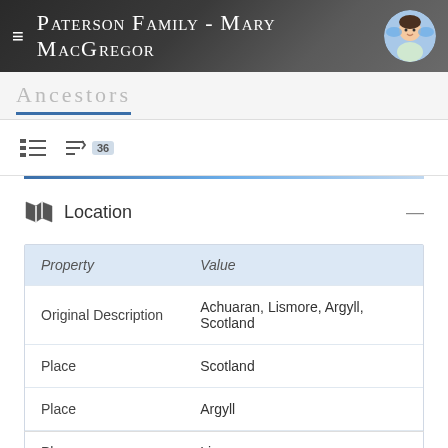Paterson Family - Mary MacGregor
Ancestors
Location
| Property | Value |
| --- | --- |
| Original Description | Achuaran, Lismore, Argyll, Scotland |
| Place | Scotland |
| Place | Argyll |
| Place | Lismore |
| Place | Achuaran |